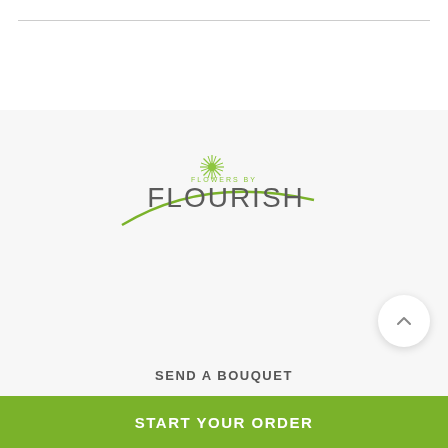[Figure (logo): Flowers by Flourish logo — a green starburst icon with a sweeping green arc beneath, and 'FLOWERS BY FLOURISH' text in grey]
SEND A BOUQUET
Anemones
START YOUR ORDER